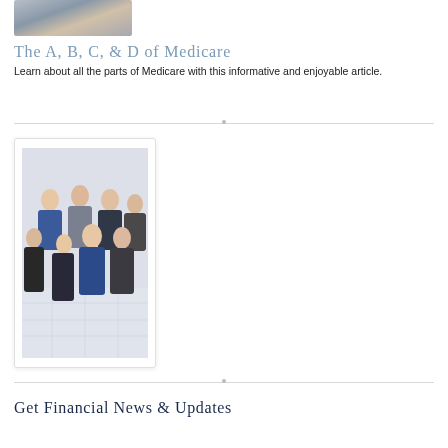[Figure (photo): A photo showing hands near a laptop with a coffee mug, partially cropped at top of page]
The A, B, C, & D of Medicare
Learn about all the parts of Medicare with this informative and enjoyable article.
[Figure (photo): A group photo of approximately 7 financial professionals posing together in a lobby or office environment, taken from a slightly elevated angle.]
Get Financial News & Updates